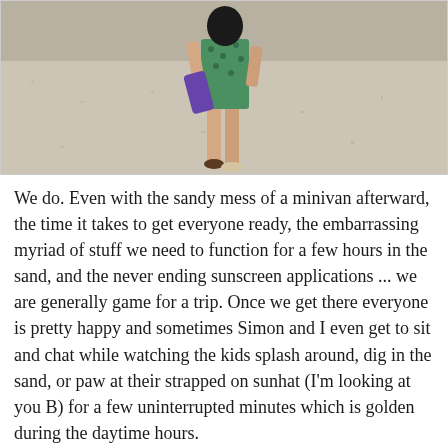[Figure (photo): A person in a green patterned swimsuit walking on a sandy beach, carrying a purple item, barefoot or in sandals. Sandy beach background.]
We do. Even with the sandy mess of a minivan afterward, the time it takes to get everyone ready, the embarrassing myriad of stuff we need to function for a few hours in the sand, and the never ending sunscreen applications ... we are generally game for a trip. Once we get there everyone is pretty happy and sometimes Simon and I even get to sit and chat while watching the kids splash around, dig in the sand, or paw at their strapped on sunhat (I'm looking at you B) for a few uninterrupted minutes which is golden during the daytime hours.
I'll never be an expert on beach-going with kids but we've learned a few key lessons in our short Floridian tenure